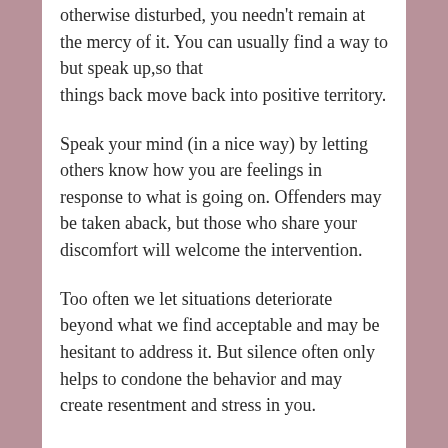otherwise disturbed, you needn't remain at the mercy of it. You can usually find a way to but speak up,so that things back move back into positive territory.
Speak your mind (in a nice way) by letting others know how you are feelings in response to what is going on. Offenders may be taken aback, but those who share your discomfort will welcome the intervention.
Too often we let situations deteriorate beyond what we find acceptable and may be hesitant to address it. But silence often only helps to condone the behavior and may create resentment and stress in you.